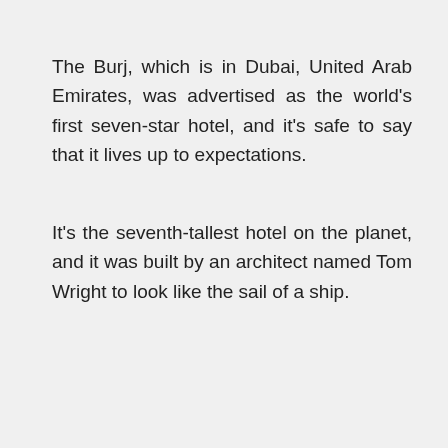The Burj, which is in Dubai, United Arab Emirates, was advertised as the world's first seven-star hotel, and it's safe to say that it lives up to expectations.
It's the seventh-tallest hotel on the planet, and it was built by an architect named Tom Wright to look like the sail of a ship.